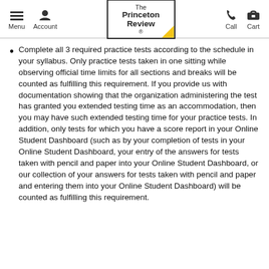Menu | Account | The Princeton Review | Call | Cart
Complete all 3 required practice tests according to the schedule in your syllabus. Only practice tests taken in one sitting while observing official time limits for all sections and breaks will be counted as fulfilling this requirement. If you provide us with documentation showing that the organization administering the test has granted you extended testing time as an accommodation, then you may have such extended testing time for your practice tests. In addition, only tests for which you have a score report in your Online Student Dashboard (such as by your completion of tests in your Online Student Dashboard, your entry of the answers for tests taken with pencil and paper into your Online Student Dashboard, or our collection of your answers for tests taken with pencil and paper and entering them into your Online Student Dashboard) will be counted as fulfilling this requirement.